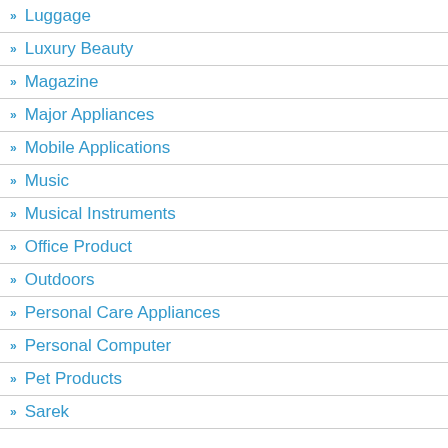Luggage
Luxury Beauty
Magazine
Major Appliances
Mobile Applications
Music
Musical Instruments
Office Product
Outdoors
Personal Care Appliances
Personal Computer
Pet Products
Sarek